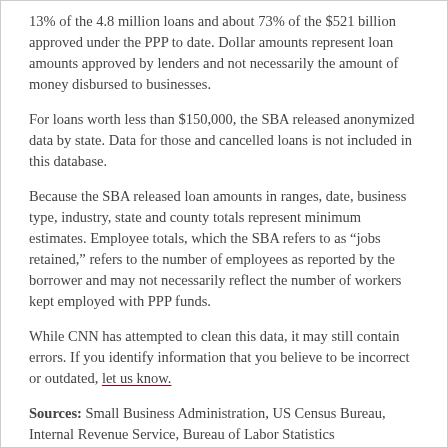13% of the 4.8 million loans and about 73% of the $521 billion approved under the PPP to date. Dollar amounts represent loan amounts approved by lenders and not necessarily the amount of money disbursed to businesses.
For loans worth less than $150,000, the SBA released anonymized data by state. Data for those and cancelled loans is not included in this database.
Because the SBA released loan amounts in ranges, date, business type, industry, state and county totals represent minimum estimates. Employee totals, which the SBA refers to as “jobs retained,” refers to the number of employees as reported by the borrower and may not necessarily reflect the number of workers kept employed with PPP funds.
While CNN has attempted to clean this data, it may still contain errors. If you identify information that you believe to be incorrect or outdated, let us know.
Sources: Small Business Administration, US Census Bureau, Internal Revenue Service, Bureau of Labor Statistics